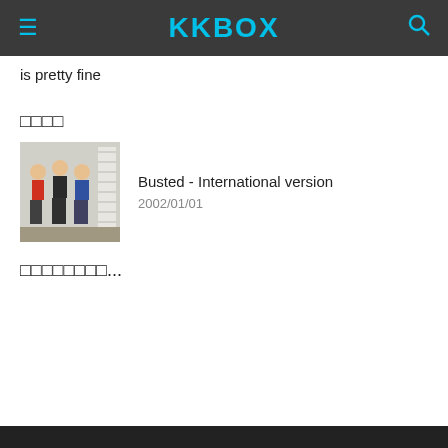KKBOX
is pretty fine
□□□□
[Figure (photo): Album cover for Busted - International version showing three young men standing against a wall with a measurement chart]
Busted - International version
2002/01/01
□□□□□□□□...